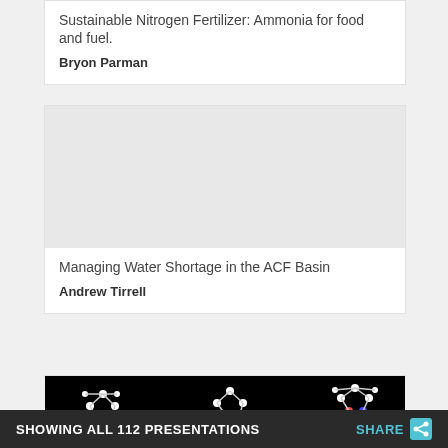[Figure (photo): Partial crop of a photo at top of card 1 (ammonia/fertilizer topic)]
Sustainable Nitrogen Fertilizer: Ammonia for food and fuel.
Bryon Parman
[Figure (photo): Light gray placeholder image for water shortage presentation]
Managing Water Shortage in the ACF Basin
Andrew Tirrell
[Figure (photo): Black background molecular simulation image showing three molecule structures]
SHOWING ALL 112 PRESENTATIONS  SHARE